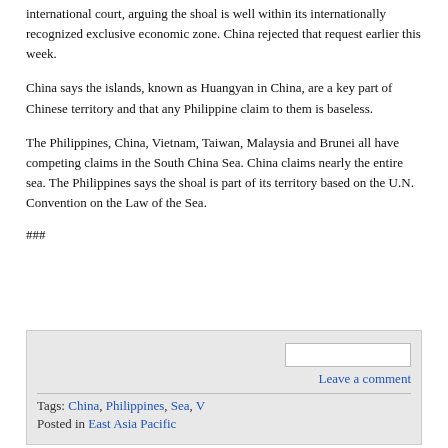international court, arguing the shoal is well within its internationally recognized exclusive economic zone. China rejected that request earlier this week.
China says the islands, known as Huangyan in China, are a key part of Chinese territory and that any Philippine claim to them is baseless.
The Philippines, China, Vietnam, Taiwan, Malaysia and Brunei all have competing claims in the South China Sea. China claims nearly the entire sea. The Philippines says the shoal is part of its territory based on the U.N. Convention on the Law of the Sea.
###
Tags: China, Philippines, Sea, V
Posted in East Asia Pacific